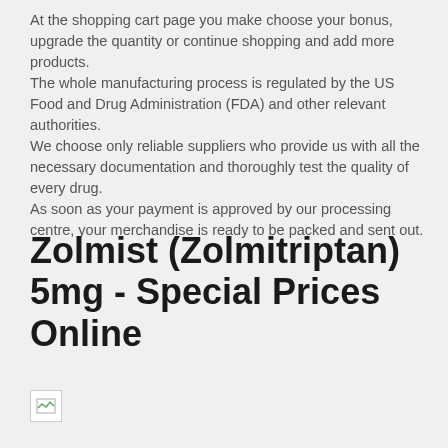At the shopping cart page you make choose your bonus, upgrade the quantity or continue shopping and add more products. The whole manufacturing process is regulated by the US Food and Drug Administration (FDA) and other relevant authorities. We choose only reliable suppliers who provide us with all the necessary documentation and thoroughly test the quality of every drug. As soon as your payment is approved by our processing centre, your merchandise is ready to be packed and sent out.
Zolmist (Zolmitriptan) 5mg - Special Prices Online
[Figure (photo): Broken image placeholder with small green arrow icon]